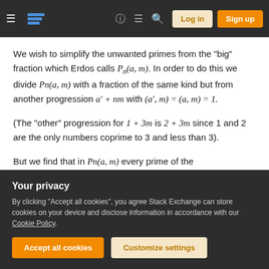Stack Exchange navigation bar with hamburger menu, logo, help, chat, search icons, Log in and Sign up buttons
We wish to simplify the unwanted primes from the "big" fraction which Erdos calls Pn(a, m). In order to do this we divide Pn(a, m) with a fraction of the same kind but from another progression a' + nm with (a', m) = (a, m) = 1.
(The "other" progression for 1 + 3m is 2 + 3m since 1 and 2 are the only numbers coprime to 3 and less than 3).
But we find that in Pn(a, m) every prime of the
Your privacy
By clicking "Accept all cookies", you agree Stack Exchange can store cookies on your device and disclose information in accordance with our Cookie Policy.
Accept all cookies | Customize settings